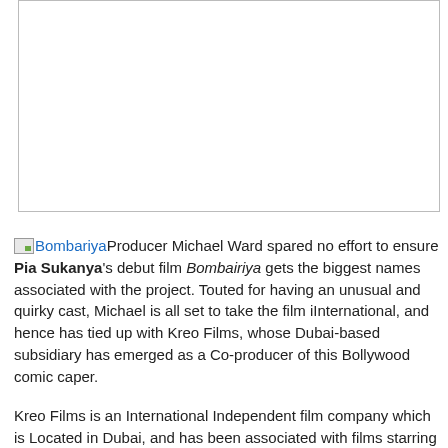[Figure (photo): Large image placeholder with border at top of page]
Bombariya Producer Michael Ward spared no effort to ensure Pia Sukanya's debut film Bombairiya gets the biggest names associated with the project. Touted for having an unusual and quirky cast, Michael is all set to take the film iInternational, and hence has tied up with Kreo Films, whose Dubai-based subsidiary has emerged as a Co-producer of this Bollywood comic caper.
Kreo Films is an International Independent film company which is Located in Dubai, and has been associated with films starring Hollywood biggies like Julianne Moore, Johnny Depp and Mickey Rourke, each of whom